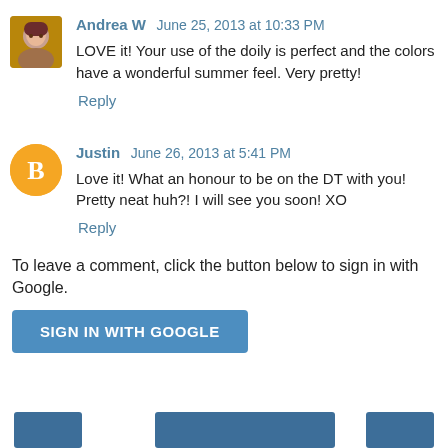Andrea W  June 25, 2013 at 10:33 PM
LOVE it! Your use of the doily is perfect and the colors have a wonderful summer feel. Very pretty!
Reply
Justin  June 26, 2013 at 5:41 PM
Love it! What an honour to be on the DT with you! Pretty neat huh?! I will see you soon! XO
Reply
To leave a comment, click the button below to sign in with Google.
SIGN IN WITH GOOGLE